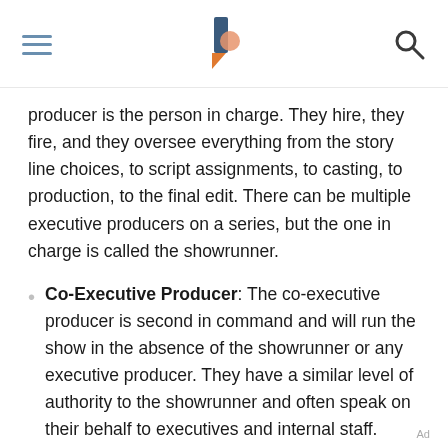[navigation header with logo]
producer is the person in charge. They hire, they fire, and they oversee everything from the story line choices, to script assignments, to casting, to production, to the final edit. There can be multiple executive producers on a series, but the one in charge is called the showrunner.
Co-Executive Producer: The co-executive producer is second in command and will run the show in the absence of the showrunner or any executive producer. They have a similar level of authority to the showrunner and often speak on their behalf to executives and internal staff.
Ad